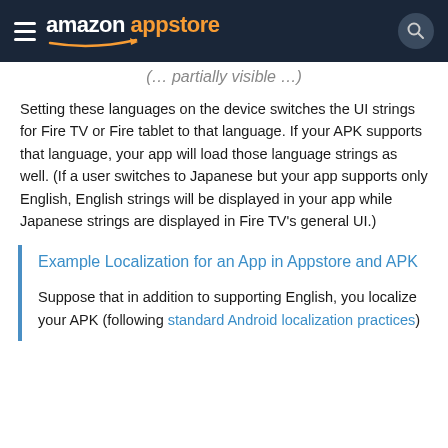amazon appstore
(…partial heading…)
Setting these languages on the device switches the UI strings for Fire TV or Fire tablet to that language. If your APK supports that language, your app will load those language strings as well. (If a user switches to Japanese but your app supports only English, English strings will be displayed in your app while Japanese strings are displayed in Fire TV's general UI.)
Example Localization for an App in Appstore and APK
Suppose that in addition to supporting English, you localize your APK (following standard Android localization practices)